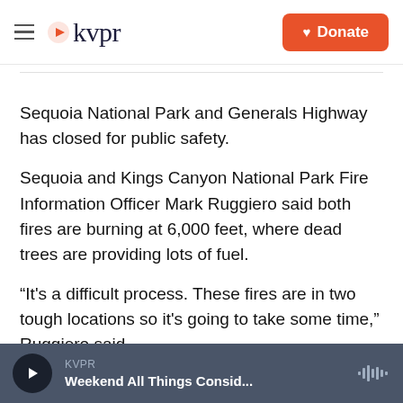kvpr | Donate
Sequoia National Park and Generals Highway has closed for public safety.
Sequoia and Kings Canyon National Park Fire Information Officer Mark Ruggiero said both fires are burning at 6,000 feet, where dead trees are providing lots of fuel.
“It's a difficult process. These fires are in two tough locations so it’s going to take some time,” Ruggiero said.
There are threats to infrastructure in the park, but
KVPR | Weekend All Things Consid...